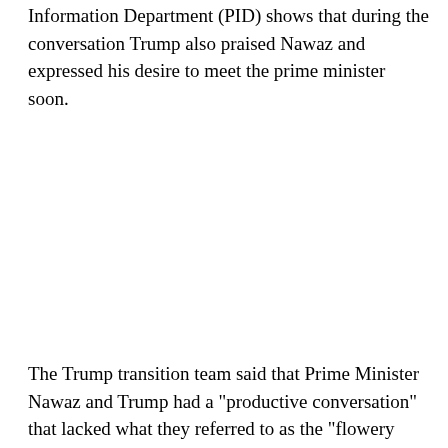Information Department (PID) shows that during the conversation Trump also praised Nawaz and expressed his desire to meet the prime minister soon.
The Trump transition team said that Prime Minister Nawaz and Trump had a "productive conversation" that lacked what they referred to as the "flowery language" present in the Pakistan